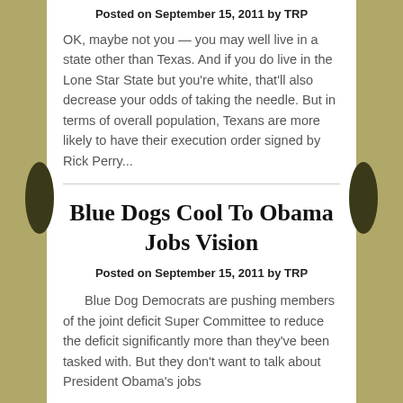Posted on September 15, 2011 by TRP
OK, maybe not you — you may well live in a state other than Texas. And if you do live in the Lone Star State but you're white, that'll also decrease your odds of taking the needle. But in terms of overall population, Texans are more likely to have their execution order signed by Rick Perry...
Blue Dogs Cool To Obama Jobs Vision
Posted on September 15, 2011 by TRP
Blue Dog Democrats are pushing members of the joint deficit Super Committee to reduce the deficit significantly more than they've been tasked with. But they don't want to talk about President Obama's jobs